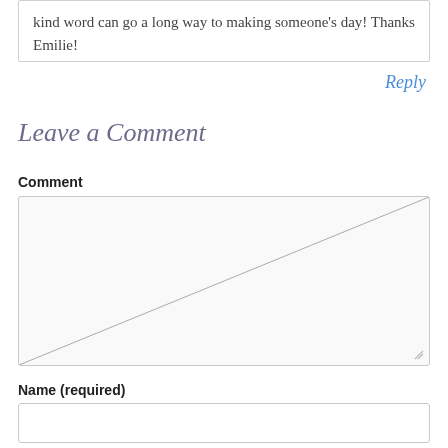kind word can go a long way to making someone's day! Thanks Emilie!
Reply
Leave a Comment
Comment
[Figure (other): Empty comment textarea input field]
Name (required)
[Figure (other): Empty name input field]